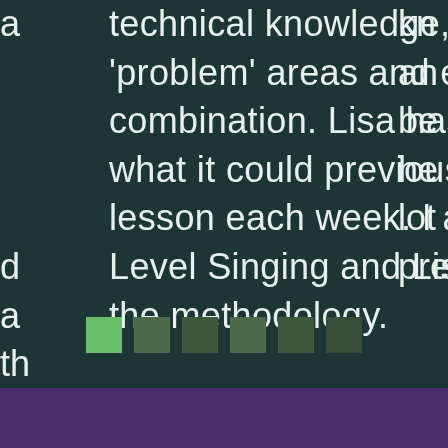technical knowledge, willingness to dig into the 'problem' areas and easy manner make a winning combination. Lisa has expanded my voice beyond what it could previously do. I can't wait for my lesson each week. I am a HUGE fan of Speech Level Singing and Lisa is an impeccable teacher of the methodology.
[Figure (other): Navigation dots row with 6 square indicator dots. First dot is bright green (active), remaining dots are progressively darker shades of green.]